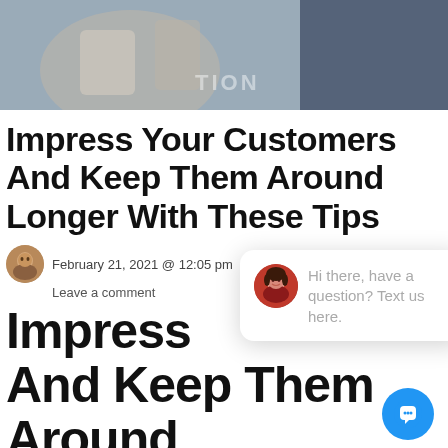[Figure (photo): Hero image at top of article showing people with shopping bags, blurred/partial view]
Impress Your Customers And Keep Them Around Longer With These Tips
February 21, 2021 @ 12:05 pm   by David Gardner   in  close  3
Leave a comment
Impress Your Customers And Keep Them Around Longer With These Tips
[Figure (screenshot): Chat popup widget: avatar of woman, text 'Hi there, have a question? Text us here.' with blue chat button icon]